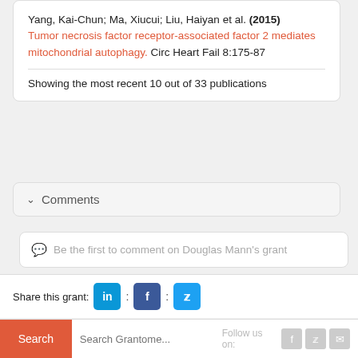Yang, Kai-Chun; Ma, Xiucui; Liu, Haiyan et al. (2015) Tumor necrosis factor receptor-associated factor 2 mediates mitochondrial autophagy. Circ Heart Fail 8:175-87
Showing the most recent 10 out of 33 publications
Comments
Be the first to comment on Douglas Mann's grant
Share this grant: